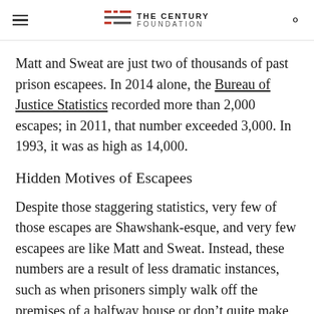THE CENTURY FOUNDATION
Matt and Sweat are just two of thousands of past prison escapees. In 2014 alone, the Bureau of Justice Statistics recorded more than 2,000 escapes; in 2011, that number exceeded 3,000. In 1993, it was as high as 14,000.
Hidden Motives of Escapees
Despite those staggering statistics, very few of those escapes are Shawshank-esque, and very few escapees are like Matt and Sweat. Instead, these numbers are a result of less dramatic instances, such as when prisoners simply walk off the premises of a halfway house or don’t quite make curfew because of a late bus.